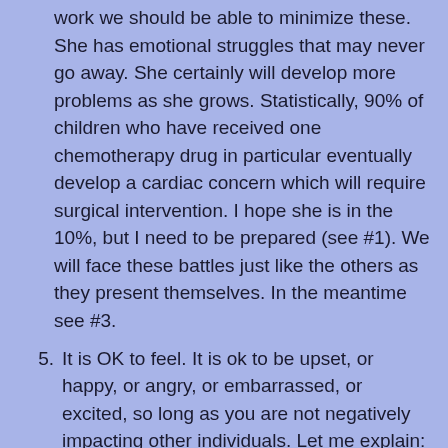work we should be able to minimize these. She has emotional struggles that may never go away. She certainly will develop more problems as she grows. Statistically, 90% of children who have received one chemotherapy drug in particular eventually develop a cardiac concern which will require surgical intervention. I hope she is in the 10%, but I need to be prepared (see #1). We will face these battles just like the others as they present themselves. In the meantime see #3.
5. It is OK to feel. It is ok to be upset, or happy, or angry, or embarrassed, or excited, so long as you are not negatively impacting other individuals. Let me explain: It's not ok to hurt someone else, but it is ok if they empathize with you. If you are sad and crying and another person feels bad because you feel bad, they are human and are allowed.   There were moments